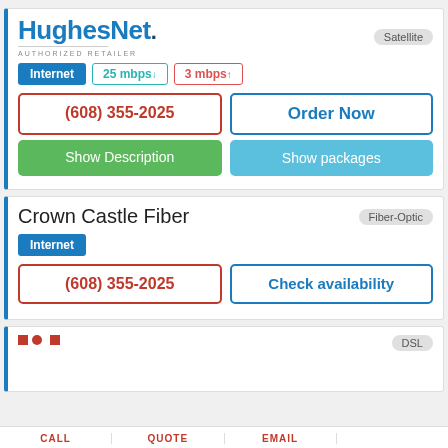[Figure (logo): HughesNet authorized retailer logo with blue text]
Satellite
Internet  25 mbps↓  3 mbps↑
(608) 355-2025
Order Now
Show Description
Show packages
Crown Castle Fiber
Fiber-Optic
Internet
(608) 355-2025
Check availability
DSL
CALL
QUOTE
EMAIL